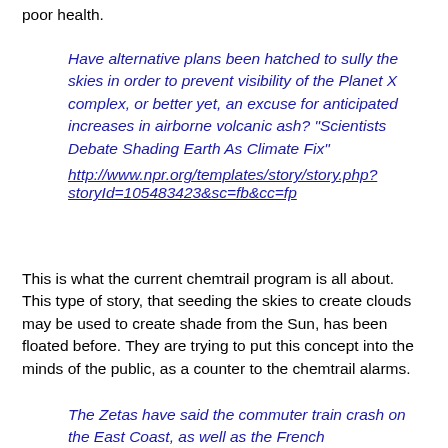poor health.
Have alternative plans been hatched to sully the skies in order to prevent visibility of the Planet X complex, or better yet, an excuse for anticipated increases in airborne volcanic ash? "Scientists Debate Shading Earth As Climate Fix" http://www.npr.org/templates/story/story.php?storyId=105483423&sc=fb&cc=fp
This is what the current chemtrail program is all about. This type of story, that seeding the skies to create clouds may be used to create shade from the Sun, has been floated before. They are trying to put this concept into the minds of the public, as a counter to the chemtrail alarms.
The Zetas have said the commuter train crash on the East Coast, as well as the French